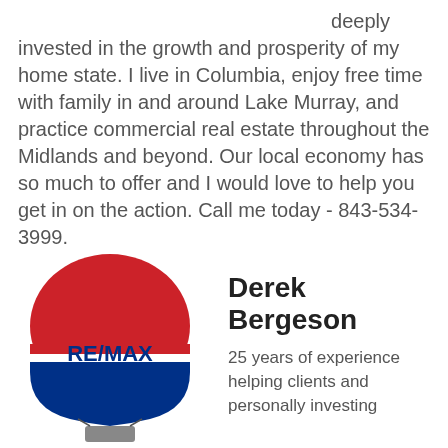deeply invested in the growth and prosperity of my home state. I live in Columbia, enjoy free time with family in and around Lake Murray, and practice commercial real estate throughout the Midlands and beyond. Our local economy has so much to offer and I would love to help you get in on the action. Call me today - 843-534-3999.
[Figure (logo): RE/MAX hot air balloon logo]
Derek Bergeson
25 years of experience helping clients and personally investing